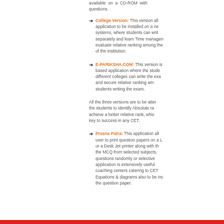available on a CD-ROM with questions.
College Version: This version allows the application to be installed on a network systems, where students can write separately and learn Time management, evaluate relative ranking among the students of the institution.
E-PARIKSHA.COM: This version is a web based application where the students of different colleges can write the exam online and secure relative ranking among the students writing the exam.
All the three versions are to be attempted by the students to identify Absolute ranking and achieve a better relative rank, which is the key to success in any CET.
Prasna Patra: This application allows the user to print question papers on a Laser or a Desk Jet printer along with the MCQ from selected subjects, questions randomly or selectively. This application is extensively useful for the coaching centers catering to CET students. Equations & diagrams also to be included in the question paper.